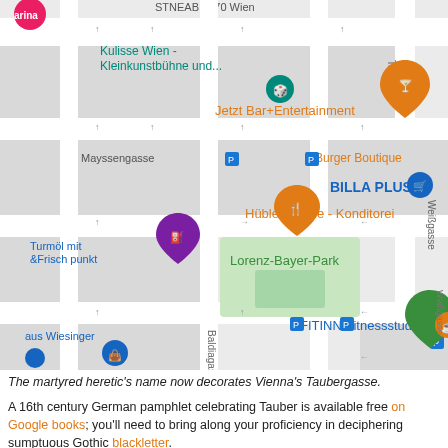[Figure (map): Google Maps screenshot showing Vienna streets including Taubergasse, Weißgasse, Baldiagas, Mayssengasse. Landmarks labeled: STNEAB 1170 Wien (partial), Kulisse Wien - Kleinkunstbühne und..., Jetzt Bar+Entertainment, Burger Boutique, BILLA PLUS, Hübler Kaffee - Konditorei, Turmöl mit &Frisch punkt, Lorenz-Bayer-Park, FITINN Fitnessstudio, haus Wiesinger. Various map pins (blue, orange, green, pink) and transit/parking icons visible.]
The martyred heretic's name now decorates Vienna's Taubergasse.
A 16th century German pamphlet celebrating Tauber is available free on Google books; you'll need to bring along your proficiency in deciphering sumptuous Gothic blackletter.
On this day..
1943: The officers of the 13th Waffen Mountain Division of the SS Handsch... during the Villefranche-de-Rouergue mutiny - 2020
1915: Augusto Alfredo Roggen, World War I spy - 2019